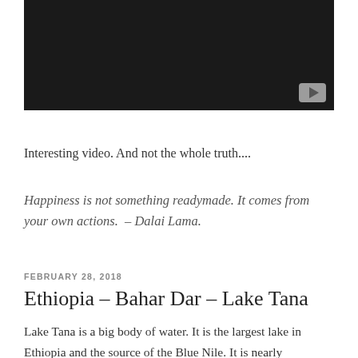[Figure (screenshot): Black video player with a YouTube-style play button in the bottom-right corner]
Interesting video. And not the whole truth....
Happiness is not something readymade. It comes from your own actions.  – Dalai Lama.
FEBRUARY 28, 2018
Ethiopia – Bahar Dar – Lake Tana
Lake Tana is a big body of water. It is the largest lake in Ethiopia and the source of the Blue Nile. It is nearly impossible not to charter a boat in Bahar Dar to see the lake. The touts will not let you.